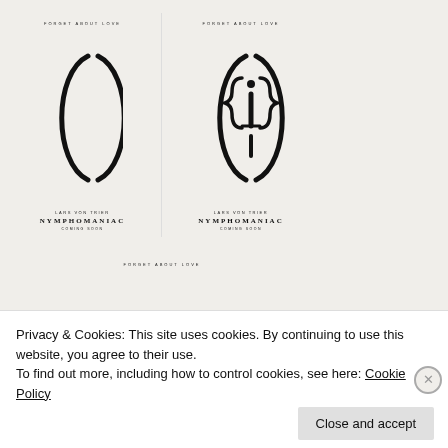[Figure (illustration): Two movie poster images side by side for 'Nymphomaniac' by Lars Von Trier. Left poster shows parentheses symbols forming an oval shape on cream background. Right poster shows curly braces with an 'i' symbol forming a similar oval shape on cream background. Both labeled 'FORGET ABOUT LOVE', 'LARS VON TRIER', 'NYMPHOMANIAC', 'COMING SOON'.]
[Figure (illustration): Partial third movie poster visible, same series, cream background with 'FORGET ABOUT LOVE' text partially visible at top.]
Privacy & Cookies: This site uses cookies. By continuing to use this website, you agree to their use.
To find out more, including how to control cookies, see here: Cookie Policy
Close and accept